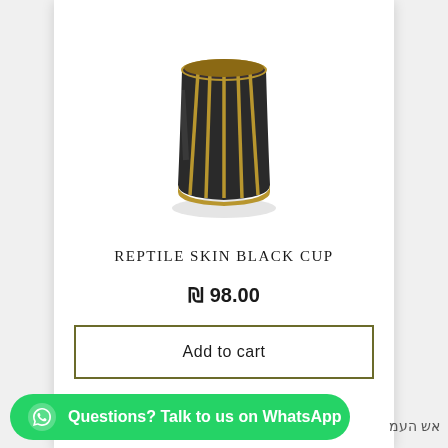[Figure (photo): A dark ceramic cup with gold/bronze vertical stripe detailing and a metallic gold rim base, shown with a subtle reflection beneath it on white background.]
REPTILE SKIN BLACK CUP
₪ 98.00
Add to cart
Questions? Talk to us on WhatsApp
אש העמ